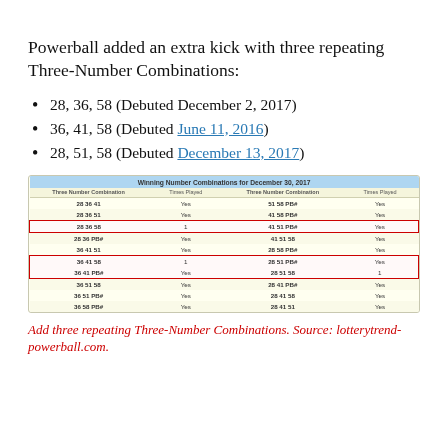Powerball added an extra kick with three repeating Three-Number Combinations:
28, 36, 58 (Debuted December 2, 2017)
36, 41, 58 (Debuted June 11, 2016)
28, 51, 58 (Debuted December 13, 2017)
| Three Number Combination | Times Played | Three Number Combination | Times Played |
| --- | --- | --- | --- |
| 28 36 41 | Yes | 51 58 PB# | Yes |
| 28 36 51 | Yes | 41 58 PB# | Yes |
| 28 36 58 | 1 | 41 51 PB# | Yes |
| 28 36 PB# | Yes | 41 51 58 | Yes |
| 36 41 51 | Yes | 28 58 PB# | Yes |
| 36 41 58 | 1 | 28 51 PB# | Yes |
| 36 41 PB# | Yes | 28 51 58 | 1 |
| 36 51 58 | Yes | 28 41 PB# | Yes |
| 36 51 PB# | Yes | 28 41 58 | Yes |
| 36 58 PB# | Yes | 28 41 51 | Yes |
Add three repeating Three-Number Combinations. Source: lotterytrend-powerball.com.